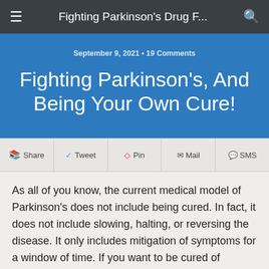Fighting Parkinson's Drug F...
September 9, 2021 • 19 Comments
Fighting Parkinson's, And Being Your Own Cure!
Share  Tweet  Pin  Mail  SMS
As all of you know, the current medical model of Parkinson's does not include being cured. In fact, it does not include slowing, halting, or reversing the disease. It only includes mitigation of symptoms for a window of time. If you want to be cured of Parkinson's, you have to...